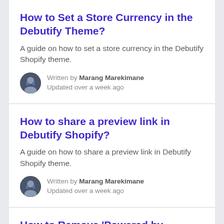How to Set a Store Currency in the Debutify Theme?
A guide on how to set a store currency in the Debutify Shopify theme.
Written by Marang Marekimane
Updated over a week ago
How to share a preview link in Debutify Shopify?
A guide on how to share a preview link in Debutify Shopify theme.
Written by Marang Marekimane
Updated over a week ago
How to Remove ‘Powered by Shopify’